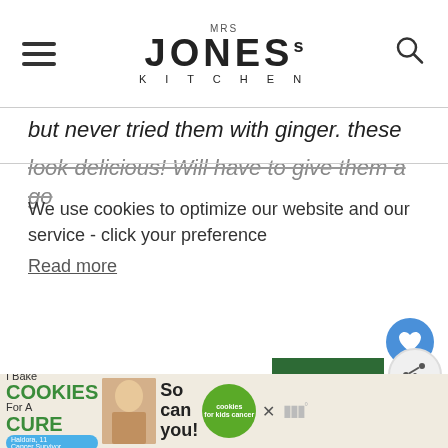MRS JONES's KITCHEN
but never tried them with ginger. these look delicious! Will have to give them a go
We use cookies to optimize our website and our service - click your preference
Read more
ACCEPT
Thankyou Sarah, the ginger works well in them 🙂
WHAT'S NEXT → Baby Blueberry...
[Figure (screenshot): Advertisement banner: I Bake COOKIES For A CURE - Haldora, 11 Cancer Survivor - So can you! - cookies for kids cancer - close button]
[Figure (logo): Wunderkind logo/tag]